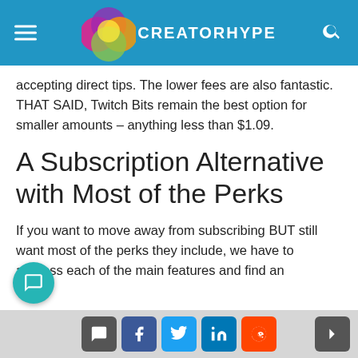CREATORHYPE
accepting direct tips. The lower fees are also fantastic. THAT SAID, Twitch Bits remain the best option for smaller amounts – anything less than $1.09.
A Subscription Alternative with Most of the Perks
If you want to move away from subscribing BUT still want most of the perks they include, we have to address each of the main features and find an